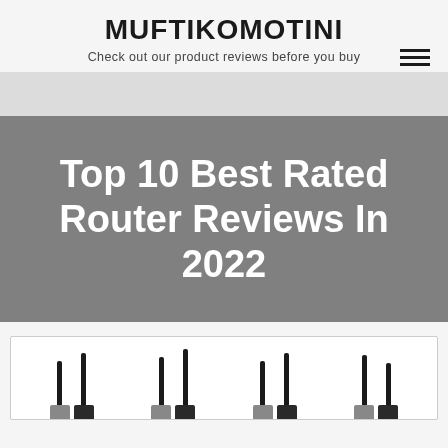MUFTIKOMOTINI
Check out our product reviews before you buy
Top 10 Best Rated Router Reviews In 2022
[Figure (photo): Photo of multiple WiFi routers with antennas displayed side by side in a white product card]